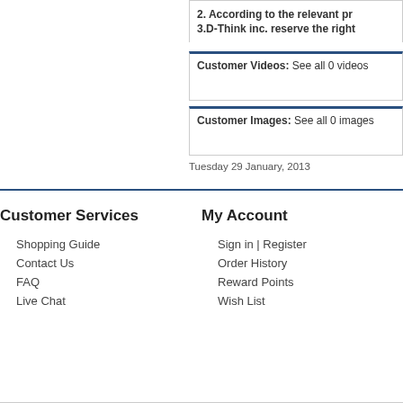2. According to the relevant pr...
3.D-Think inc. reserve the right...
Customer Videos: See all 0 videos
Customer Images: See all 0 images
Tuesday 29 January, 2013
Customer Services
Shopping Guide
Contact Us
FAQ
Live Chat
My Account
Sign in | Register
Order History
Reward Points
Wish List